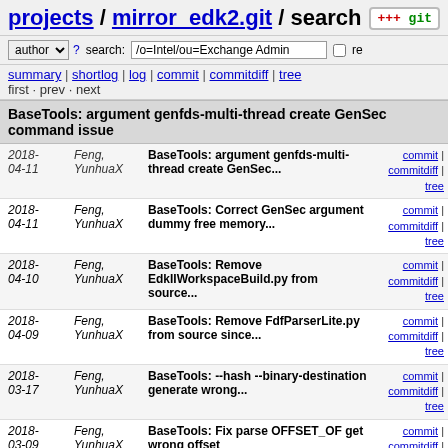projects / mirror_edk2.git / search
author ? search: /o=Intel/ou=Exchange Admin re
summary | shortlog | log | commit | commitdiff | tree
first · prev · next
BaseTools: argument genfds-multi-thread create GenSec command issue
| Date | Author | Commit | Links |
| --- | --- | --- | --- |
| 2018-04-11 | Feng, YunhuaX | BaseTools: argument genfds-multi-thread create GenSec... | commit | commitdiff | tree |
| 2018-04-11 | Feng, YunhuaX | BaseTools: Correct GenSec argument dummy free memory... | commit | commitdiff | tree |
| 2018-04-10 | Feng, YunhuaX | BaseTools: Remove EdkIIWorkspaceBuild.py from source... | commit | commitdiff | tree |
| 2018-04-09 | Feng, YunhuaX | BaseTools: Remove FdfParserLite.py from source since... | commit | commitdiff | tree |
| 2018-03-17 | Feng, YunhuaX | BaseTools: --hash --binary-destination generate wrong... | commit | commitdiff | tree |
| 2018-03-09 | Feng, YunhuaX | BaseTools: Fix parse OFFSET_OF get wrong offset | commit | commitdiff | tree |
| 2018-03-03 | Feng, YunhuaX | BaseTools: Dsc/Fdf conditional statement parse issue | commit | commitdiff | tree |
| 2018-... | Feng, | BaseTools: report error if flag in | commit |